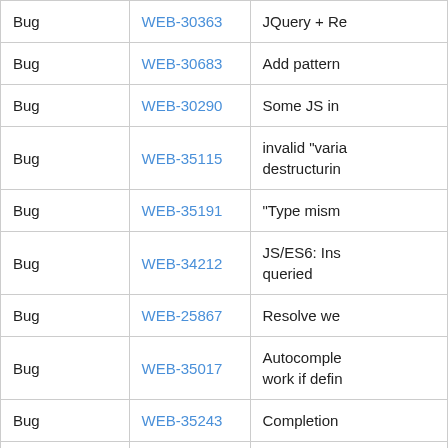| Type | ID | Description |
| --- | --- | --- |
| Bug | WEB-30363 | JQuery + Re… |
| Bug | WEB-30683 | Add pattern… |
| Bug | WEB-30290 | Some JS in… |
| Bug | WEB-35115 | invalid "varia… destructurin… |
| Bug | WEB-35191 | "Type mism… |
| Bug | WEB-34212 | JS/ES6: Ins… queried |
| Bug | WEB-25867 | Resolve we… |
| Bug | WEB-35017 | Autocomple… work if defin… |
| Bug | WEB-35243 | Completion… |
| Bug | WEB-34936 | False "Meth… |
| Bug | WEB-35274 | Provide quic… |